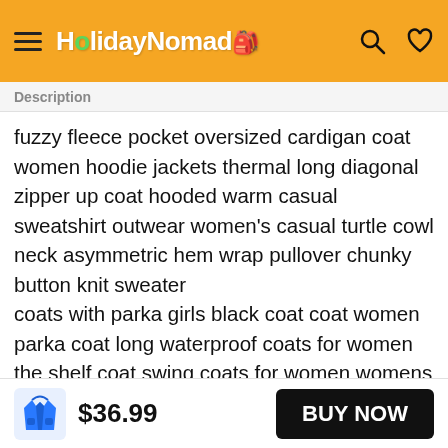HolidayNomad [logo/nav bar]
Description
fuzzy fleece pocket oversized cardigan coat women hoodie jackets thermal long diagonal zipper up coat hooded warm casual sweatshirt outwear women's casual turtle cowl neck asymmetric hem wrap pullover chunky button knit sweater coats with parka girls black coat coat women parka coat long waterproof coats for women the shelf coat swing coats for women womens coats size coat childrens lab coats white long teddy coats for women white lab coat women buffalo coat children
$36.99  BUY NOW